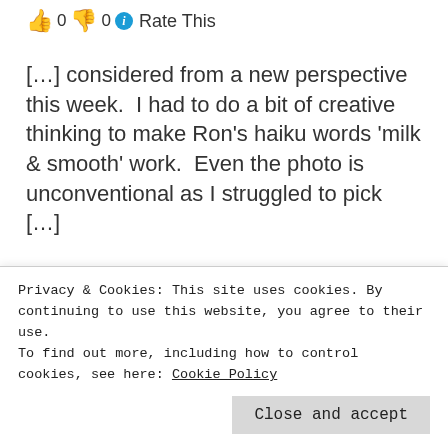👍 0 👎 0 ℹ Rate This
[…] considered from a new perspective this week.  I had to do a bit of creative thinking to make Ron's haiku words 'milk & smooth' work.  Even the photo is unconventional as I struggled to pick […]
★ Like
Guest Author to Know: Colleen Chesebro
Privacy & Cookies: This site uses cookies. By continuing to use this website, you agree to their use. To find out more, including how to control cookies, see here: Cookie Policy
Close and accept